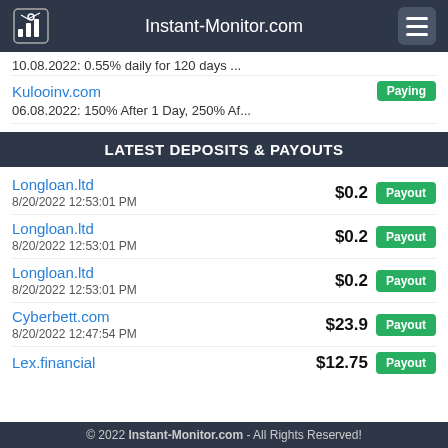Instant-Monitor.com
10.08.2022: 0.55% daily for 120 days ...
Kulooinv.com [Paying] 06.08.2022: 150% After 1 Day, 250% Af...
LATEST DEPOSITS & PAYOUTS
Longloan.ltd
8/20/2022 12:53:01 PM
$0.2 Payout
Longloan.ltd
8/20/2022 12:53:01 PM
$0.2 Payout
Longloan.ltd
8/20/2022 12:53:01 PM
$0.2 Payout
Cyberbett.com
8/20/2022 12:47:54 PM
$23.9 Payout
Lex.financial
8/20/2022 12:34:06 PM
$12.75 Payout
© 2022 Instant-Monitor.com - All Rights Reserved!